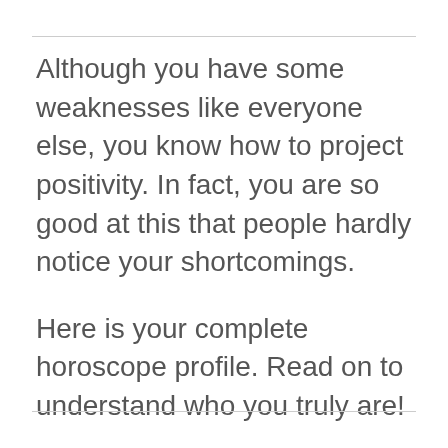Although you have some weaknesses like everyone else, you know how to project positivity. In fact, you are so good at this that people hardly notice your shortcomings.
Here is your complete horoscope profile. Read on to understand who you truly are!